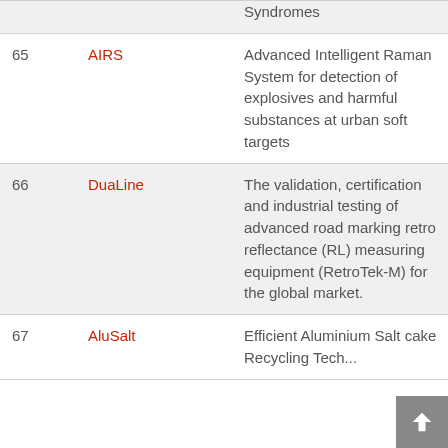| # | Name | Description |
| --- | --- | --- |
|  |  | Syndromes |
| 65 | AIRS | Advanced Intelligent Raman System for detection of explosives and harmful substances at urban soft targets |
| 66 | DuaLine | The validation, certification and industrial testing of advanced road marking retro reflectance (RL) measuring equipment (RetroTek-M) for the global market. |
| 67 | AluSalt | Efficient Aluminium Salt cake Recycling Technology |